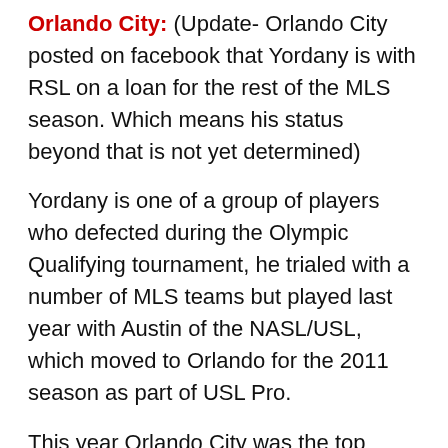Orlando City: (Update- Orlando City posted on facebook that Yordany is with RSL on a loan for the rest of the MLS season. Which means his status beyond that is not yet determined)
Yordany is one of a group of players who defected during the Olympic Qualifying tournament, he trialed with a number of MLS teams but played last year with Austin of the NASL/USL, which moved to Orlando for the 2011 season as part of USL Pro.
This year Orlando City was the top team both in the regular season and in the USL Pro Tournament, Yordany was voted by the USL coaches and managers as the league MVP this year:
Most Valuable Player - Yordany Alvarez, Orlando City